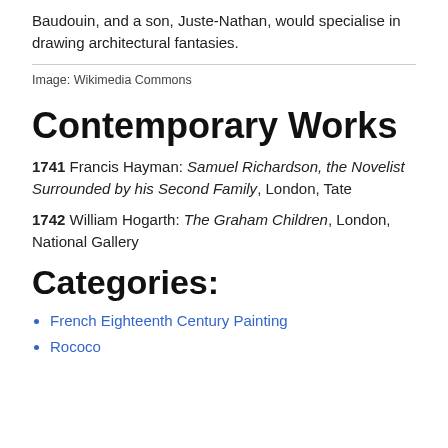Baudouin, and a son, Juste-Nathan, would specialise in drawing architectural fantasies.
Image: Wikimedia Commons
Contemporary Works
1741 Francis Hayman: Samuel Richardson, the Novelist Surrounded by his Second Family, London, Tate
1742 William Hogarth: The Graham Children, London, National Gallery
Categories:
French Eighteenth Century Painting
Rococo